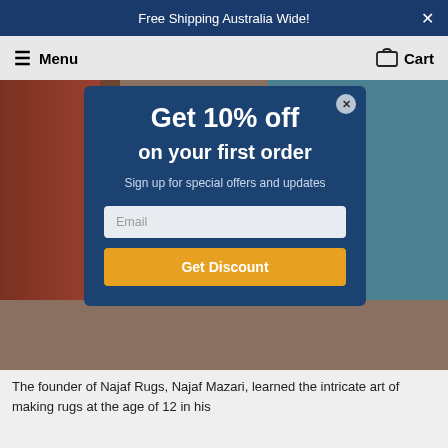Free Shipping Australia Wide!
Menu   Cart
[Figure (screenshot): E-commerce popup modal over rug product page background. Modal has dark navy background with 'Get 10% off on your first order' headline, 'Sign up for special offers and updates' subtext, an email input field, and a 'Get Discount' button in orange/gold color.]
The founder of Najaf Rugs, Najaf Mazari, learned the intricate art of making rugs at the age of 12 in his